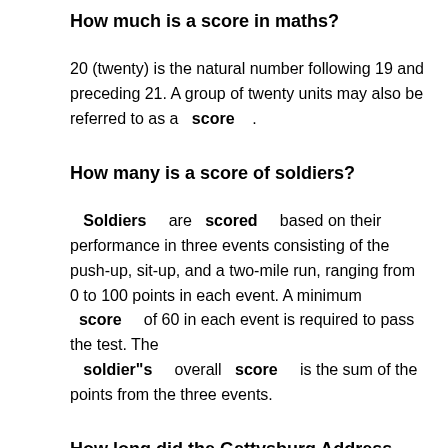How much is a score in maths?
20 (twenty) is the natural number following 19 and preceding 21. A group of twenty units may also be referred to as a score .
How many is a score of soldiers?
Soldiers are scored based on their performance in three events consisting of the push-up, sit-up, and a two-mile run, ranging from 0 to 100 points in each event. A minimum score of 60 in each event is required to pass the test. The soldier"s overall score is the sum of the points from the three events.
How long did the Gettysburg Address last for?